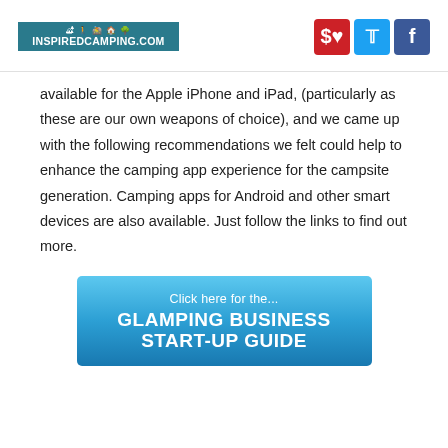INSPIREDCAMPING.COM [logo with social icons: Pinterest, Twitter, Facebook]
available for the Apple iPhone and iPad, (particularly as these are our own weapons of choice), and we came up with the following recommendations we felt could help to enhance the camping app experience for the campsite generation. Camping apps for Android and other smart devices are also available. Just follow the links to find out more.
[Figure (infographic): Banner advertisement reading 'Click here for the... GLAMPING BUSINESS START-UP GUIDE' on a blue gradient background]